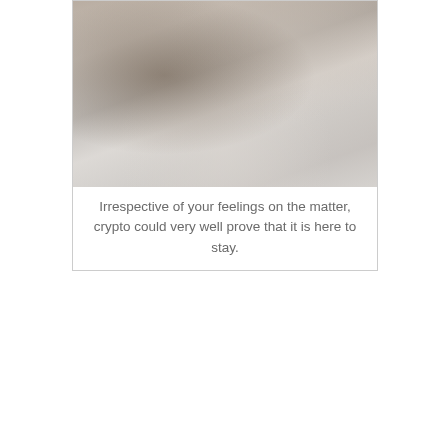[Figure (photo): Close-up photo of hands working at a desk with a calculator, wallet/leather case, papers, and a pen — a financial/accounting work scene.]
Irrespective of your feelings on the matter, crypto could very well prove that it is here to stay.